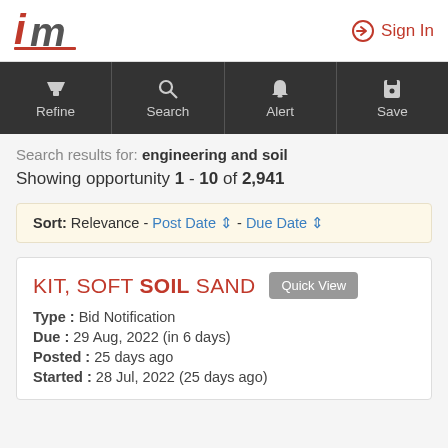im logo | Sign In
[Figure (screenshot): Navigation toolbar with Refine, Search, Alert, Save buttons on dark background]
Search results for: engineering and soil
Showing opportunity 1 - 10 of 2,941
Sort: Relevance - Post Date - Due Date
KIT, SOFT SOIL SAND
Type : Bid Notification
Due : 29 Aug, 2022 (in 6 days)
Posted : 25 days ago
Started : 28 Jul, 2022 (25 days ago)